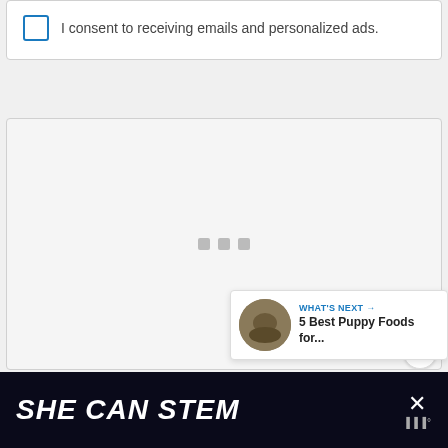I consent to receiving emails and personalized ads.
[Figure (screenshot): Content loading area with three small gray square dots in the center, a circular heart/like button in blue on the right, a count of 1, and a share button]
WHAT'S NEXT → 5 Best Puppy Foods for...
[Figure (screenshot): Ad banner with dark background reading SHE CAN STEM with a close X button and logo on the right]